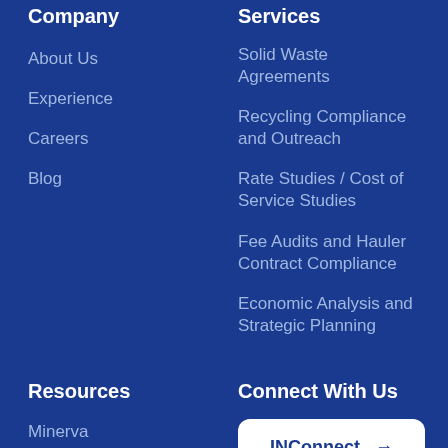Company
About Us
Experience
Careers
Blog
Services
Solid Waste Agreements
Recycling Compliance and Outreach
Rate Studies / Cost of Service Studies
Fee Audits and Hauler Contract Compliance
Economic Analysis and Strategic Planning
Resources
Minerva
Privacy Policy
Connect With Us
INConnect →